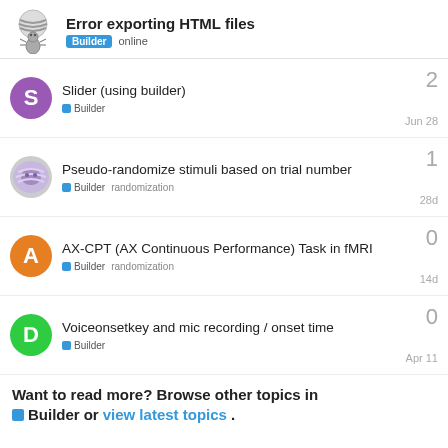Error exporting HTML files — Builder  online
Slider (using builder) — Builder — Jun 28 — 2
Pseudo-randomize stimuli based on trial number — Builder  randomization — 28d — 1
AX-CPT (AX Continuous Performance) Task in fMRI — Builder  randomization — 14d — 0
Voiceonsetkey and mic recording / onset time — Builder — Apr 11 — 0
Want to read more? Browse other topics in Builder or view latest topics.